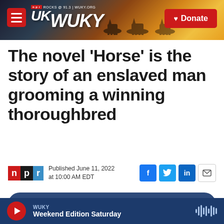WUKY NPR ROCKS @ 91.3 | WUKY.ORG — Donate
The novel 'Horse' is the story of an enslaved man grooming a winning thoroughbred
Published June 11, 2022 at 10:00 AM EDT
LISTEN • 6:31
WUKY Weekend Edition Saturday